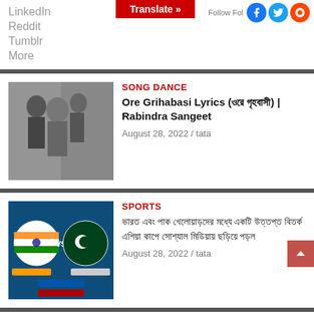LinkedIn
Reddit
Tumblr
More
[Figure (screenshot): Translate button and social follow icons (Facebook, Twitter, Reddit)]
[Figure (photo): Black and white photo related to Ore Grihabasi / Rabindra Sangeet]
SONG DANCE
Ore Grihabasi Lyrics (ওরে গৃহবাসী) | Rabindra Sangeet
August 28, 2022 / tata
[Figure (screenshot): India vs Pakistan sports graphic with flags]
SPORTS
ভারত এবং পাক খেলোয়াড়দের মধ্যে একটি উত্তপ্ত বিতর্ক এশিয়া কাপে সোশ্যাল মিডিয়ায় ছড়িয়ে পড়ল
August 28, 2022 / tata
[Figure (photo): Green handwritten note image related to Relationships article]
RELATIONSHIPS
'ভালোবাসার মানুষ বাড়ি ছেড়ে গেল', প্রতিবেশি মহিলার 'চিঠিতে' রইল না কোনো কথা বাকি